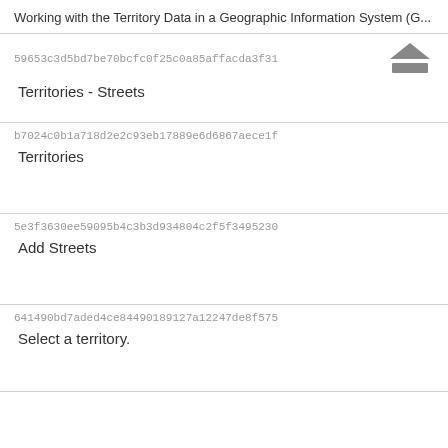Working with the Territory Data in a Geographic Information System (G...
59653c3d5bd7be70bcfc0f25c0a85affacda3f31
Territories - Streets
b7024c0b1a718d2e2c93eb17889e6d6867aece1f
Territories
5e3f3630ee59095b4c3b3d934804c2f5f3495230
Add Streets
641490bd7aded4ce84490189127a12247de8f575
Select a territory.